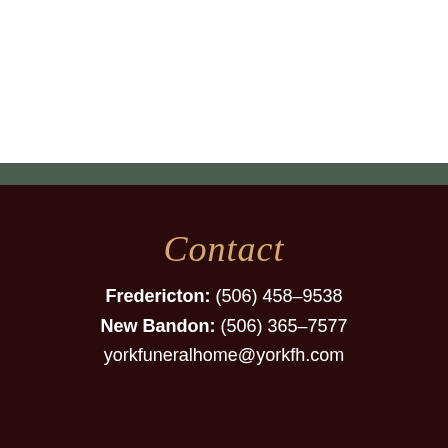[Figure (other): White background section at top of page]
Contact
Fredericton: (506) 458-9538
New Bandon: (506) 365-7577
yorkfuneralhome@yorkfh.com
Share A Memory
Send Flowers